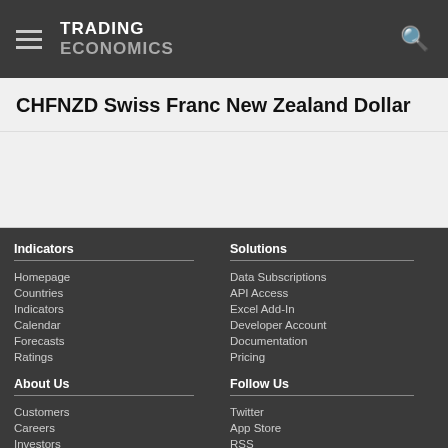TRADING ECONOMICS
CHFNZD Swiss Franc New Zealand Dollar
Indicators
Homepage
Countries
Indicators
Calendar
Forecasts
Ratings
Solutions
Data Subscriptions
API Access
Excel Add-In
Developer Account
Documentation
Pricing
About Us
Customers
Careers
Investors
Follow Us
Twitter
App Store
RSS